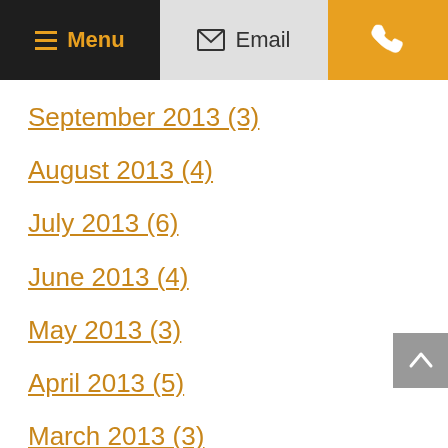Menu | Email | Phone
September 2013 (3)
August 2013 (4)
July 2013 (6)
June 2013 (4)
May 2013 (3)
April 2013 (5)
March 2013 (3)
February 2013 (3)